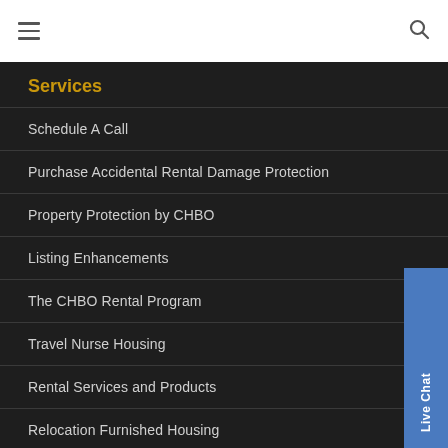Services
Schedule A Call
Purchase Accidental Rental Damage Protection
Property Protection by CHBO
Listing Enhancements
The CHBO Rental Program
Travel Nurse Housing
Rental Services and Products
Relocation Furnished Housing
Military Corporate Housing